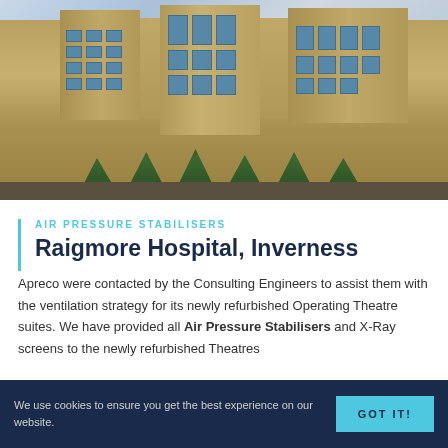[Figure (photo): Exterior photograph of Raigmore Hospital in Inverness, showing a large multi-storey brick building with conifer trees in the foreground and a cloudy sky in the background.]
AIR PRESSURE STABILISERS
Raigmore Hospital, Inverness
Apreco were contacted by the Consulting Engineers to assist them with the ventilation strategy for its newly refurbished Operating Theatre suites. We have provided all Air Pressure Stabilisers and X-Ray screens to the newly refurbished Theatres
We use cookies to ensure you get the best experience on our website.
GOT IT!